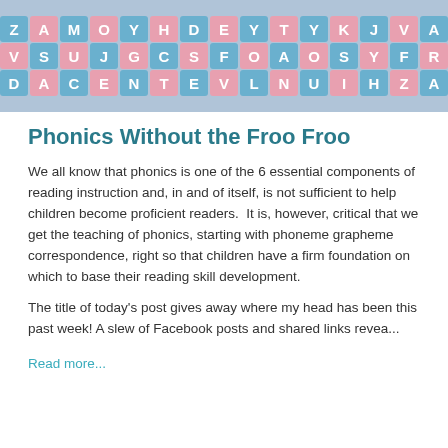[Figure (photo): A grid of alphabet letter tiles in blue and pink colors showing random letters: Z A M O Y H D E Y T Y K J V A / V S U J G C S F O A O S Y F R / D A C E N T E V L N U I H Z A]
Phonics Without the Froo Froo
We all know that phonics is one of the 6 essential components of reading instruction and, in and of itself, is not sufficient to help children become proficient readers. It is, however, critical that we get the teaching of phonics, starting with phoneme grapheme correspondence, right so that children have a firm foundation on which to base their reading skill development.
The title of today's post gives away where my head has been this past week! A slew of Facebook posts and shared links revea...
Read more...